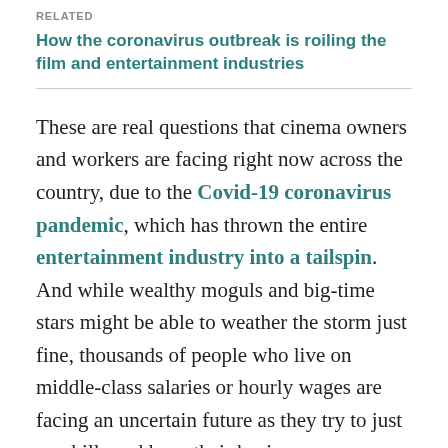RELATED
How the coronavirus outbreak is roiling the film and entertainment industries
These are real questions that cinema owners and workers are facing right now across the country, due to the Covid-19 coronavirus pandemic, which has thrown the entire entertainment industry into a tailspin. And while wealthy moguls and big-time stars might be able to weather the storm just fine, thousands of people who live on middle-class salaries or hourly wages are facing an uncertain future as they try to just pay bills and keep their businesses open.